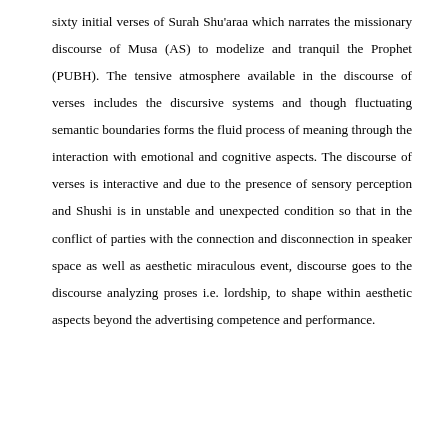sixty initial verses of Surah Shu'araa which narrates the missionary discourse of Musa (AS) to modelize and tranquil the Prophet (PUBH). The tensive atmosphere available in the discourse of verses includes the discursive systems and though fluctuating semantic boundaries forms the fluid process of meaning through the interaction with emotional and cognitive aspects. The discourse of verses is interactive and due to the presence of sensory perception and Shushi is in unstable and unexpected condition so that in the conflict of parties with the connection and disconnection in speaker space as well as aesthetic miraculous event, discourse goes to the discourse analyzing proses i.e. lordship, to shape within aesthetic aspects beyond the advertising competence and performance.